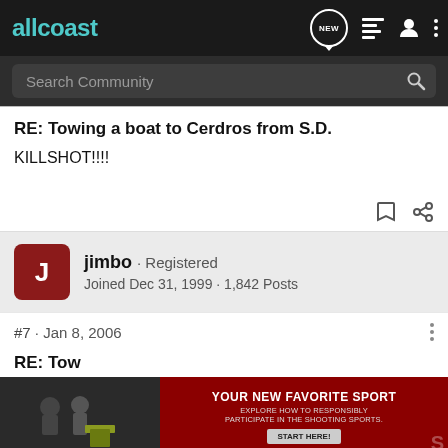allcoast
Search Community
RE: Towing a boat to Cerdros from S.D.
KILLSHOT!!!!
jimbo · Registered
Joined Dec 31, 1999 · 1,842 Posts
#7 · Jan 8, 2006
RE: Tow
[Figure (screenshot): Advertisement banner: YOUR NEW FAVORITE SPORT - EXPLORE HOW TO RESPONSIBLY PARTICIPATE IN THE SHOOTING SPORTS. START HERE!]